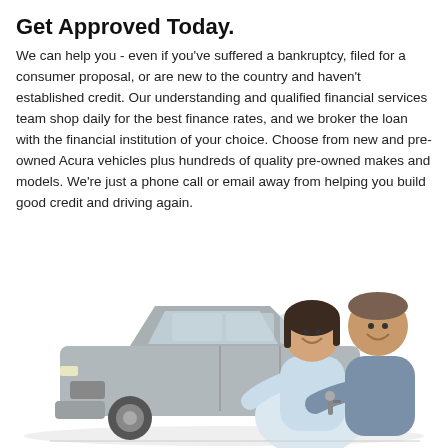Get Approved Today.
We can help you - even if you've suffered a bankruptcy, filed for a consumer proposal, or are new to the country and haven't established credit. Our understanding and qualified financial services team shop daily for the best finance rates, and we broker the loan with the financial institution of your choice. Choose from new and pre-owned Acura vehicles plus hundreds of quality pre-owned makes and models. We're just a phone call or email away from helping you build good credit and driving again.
[Figure (photo): A smiling couple holding car keys in front of a silver Acura SUV. The woman is wearing a light blue sweater and the man a blue-grey hoodie. The car is positioned behind and to the left of the couple.]